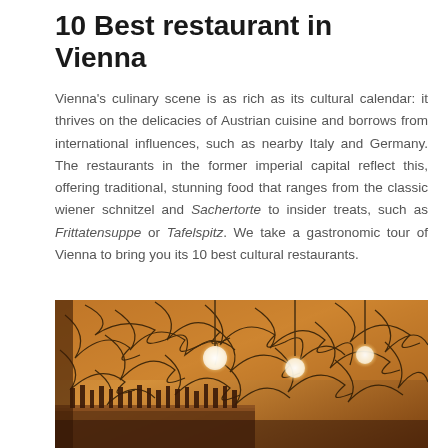10 Best restaurant in Vienna
Vienna's culinary scene is as rich as its cultural calendar: it thrives on the delicacies of Austrian cuisine and borrows from international influences, such as nearby Italy and Germany. The restaurants in the former imperial capital reflect this, offering traditional, stunning food that ranges from the classic wiener schnitzel and Sachertorte to insider treats, such as Frittatensuppe or Tafelspitz. We take a gastronomic tour of Vienna to bring you its 10 best cultural restaurants.
[Figure (photo): Interior of a Vienna restaurant with ornate ceiling featuring black scribble-like artistic decoration, warm amber lighting with globe pendant lights, and a bar counter visible in the background.]